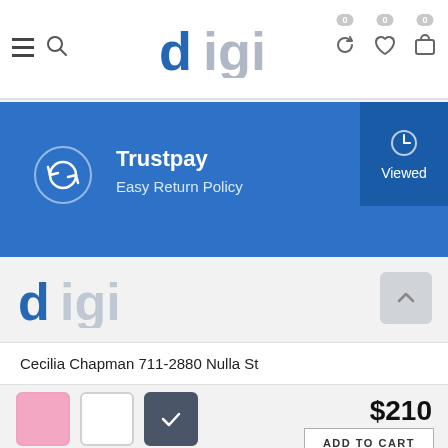Digi — navigation header with hamburger menu, search, logo, and cart icons
[Figure (screenshot): Blue Trustpay Easy Return Policy banner with circular arrow icon]
Trustpay
Easy Return Policy
[Figure (logo): Digi logo in blue and gray]
Cecilia Chapman 711-2880 Nulla St
$210
ADD TO CART